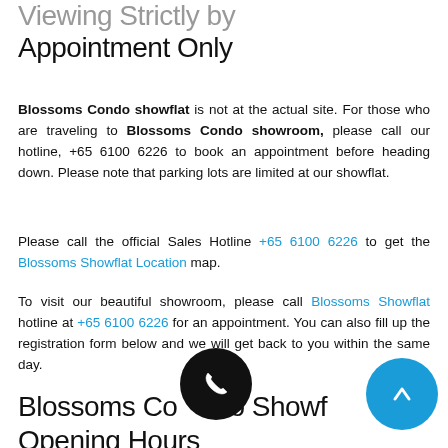Viewing Strictly by Appointment Only
Blossoms Condo showflat is not at the actual site. For those who are traveling to Blossoms Condo showroom, please call our hotline, +65 6100 6226 to book an appointment before heading down. Please note that parking lots are limited at our showflat.
Please call the official Sales Hotline +65 6100 6226 to get the Blossoms Showflat Location map.
To visit our beautiful showroom, please call Blossoms Showflat hotline at +65 6100 6226 for an appointment. You can also fill up the registration form below and we will get back to you within the same day.
Blossoms Condo Showflat Opening Hours